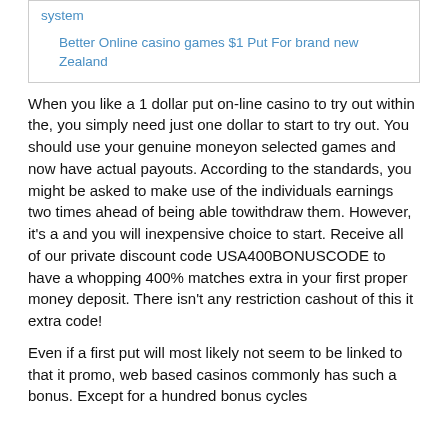system
Better Online casino games $1 Put For brand new Zealand
When you like a 1 dollar put on-line casino to try out within the, you simply need just one dollar to start to try out. You should use your genuine moneyon selected games and now have actual payouts. According to the standards, you might be asked to make use of the individuals earnings two times ahead of being able towithdraw them. However, it's a and you will inexpensive choice to start. Receive all of our private discount code USA400BONUSCODE to have a whopping 400% matches extra in your first proper money deposit. There isn't any restriction cashout of this it extra code!
Even if a first put will most likely not seem to be linked to that it promo, web based casinos commonly has such a bonus. Except for a hundred bonus cycles